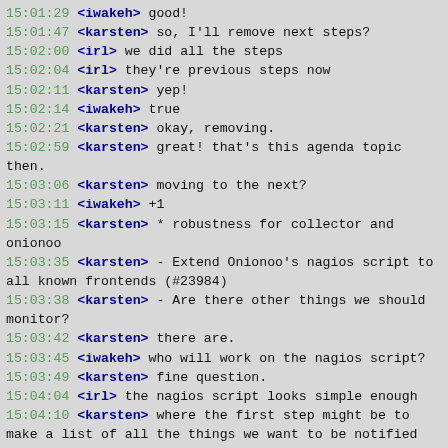15:01:29 <iwakeh> good!
15:01:47 <karsten> so, I'll remove next steps?
15:02:00 <irl> we did all the steps
15:02:04 <irl> they're previous steps now
15:02:11 <karsten> yep!
15:02:14 <iwakeh> true
15:02:21 <karsten> okay, removing.
15:02:59 <karsten> great! that's this agenda topic then.
15:03:06 <karsten> moving to the next?
15:03:11 <iwakeh> +1
15:03:15 <karsten> * robustness for collector and onionoo
15:03:35 <karsten> - Extend Onionoo's nagios script to all known frontends (#23984)
15:03:38 <karsten> - Are there other things we should monitor?
15:03:42 <karsten> there are.
15:03:45 <iwakeh> who will work on the nagios script?
15:03:49 <karsten> fine question.
15:04:04 <irl> the nagios script looks simple enough
15:04:10 <karsten> where the first step might be to make a list of all the things we want to be notified about.
15:04:17 <karsten> ah, the onionoo one.
15:04:18 <iwakeh> yes
15:04:49 <karsten> checking the other onionoo frontends is just one step towards making that check even better.
15:04:53 <karsten> it has been very useful in the past.
15:05:05 <karsten> but there are 20 other things we should be checking, not just all...